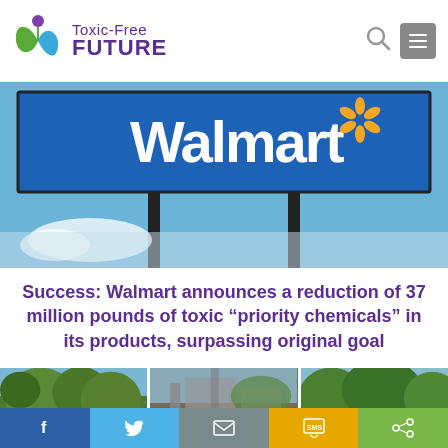Toxic-Free FUTURE
[Figure (photo): Walmart store sign against a blue sky with two poles and clouds below]
Success: Walmart announces a reduction of 37 million pounds of toxic “priority chemicals” in its products, surpassing original goal
[Figure (photo): Three thumbnail images of trees and buildings]
Social share bar: Facebook, Twitter, Email, SMS, Share